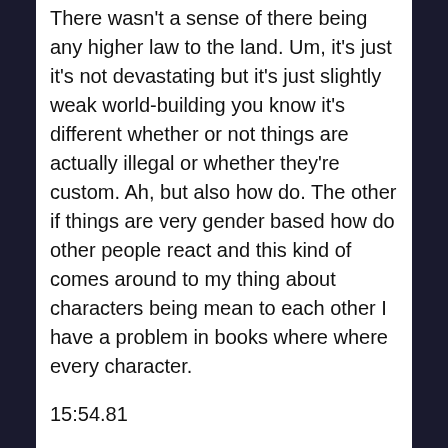There wasn't a sense of there being any higher law to the land. Um, it's just it's not devastating but it's just slightly weak world-building you know it's different whether or not things are actually illegal or whether they're custom. Ah, but also how do. The other if things are very gender based how do other people react and this kind of comes around to my thing about characters being mean to each other I have a problem in books where where every character.
15:54.81
jeffekennedy
In the book is aligned against the protagonist and that was not the case in this book but there were a lot who who either were or were just sort of tangentially oblivious and it's been a while